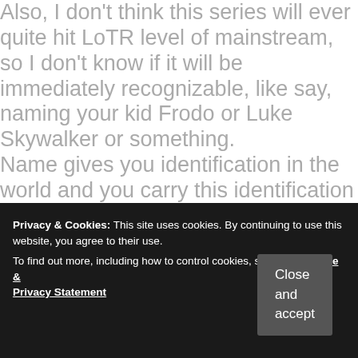Also, I don't think this series will ever quite hit LoTR level of mainstream, so I don't know if it will be immediately recognizable, like say, naming your kid Frodo or Luke Skywalker or something.
Name gives you identification in the world and you carry this identification from cradle to grave. Acoording to vedic astrology , Rashi for the name Kaladin is Mithun and Moon sign associated with the name Kaladin is Gemini..
Listen to the audio pronunciation in the Cambridge English Dictionary. Now you know why they double up in weight.
Do... wi... so... th... ar... most accurate origin of the name. I share the concerns
Privacy & Cookies: This site uses cookies. By continuing to use this website, you agree to their use.
To find out more, including how to control cookies, see here: Cookie & Privacy Statement
Close and accept